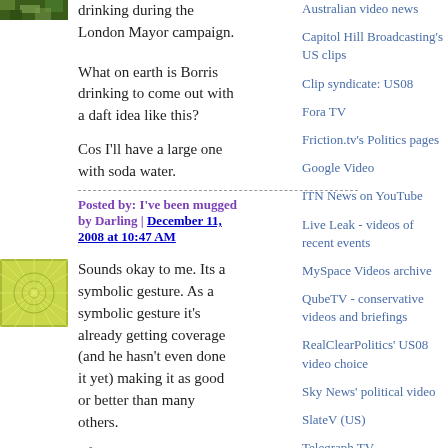drinking during the London Mayor campaign.
What on earth is Borris drinking to come out with a daft idea like this?
Cos I'll have a large one with soda water.
Posted by: I've been mugged by Darling | December 11, 2008 at 10:47 AM
[Figure (illustration): Green geometric/line art avatar image]
Sounds okay to me. Its a symbolic gesture. As a symbolic gesture it's already getting coverage (and he hasn't even done it yet) making it as good or better than many others.
I find it amazing that people regular comment
Australian video news
Capitol Hill Broadcasting's US clips
Clip syndicate: US08
Fora TV
Friction.tv's Politics pages
Google Video
ITN News on YouTube
Live Leak - videos of recent events
MySpace Videos archive
QubeTV - conservative videos and briefings
RealClearPolitics' US08 video choice
Sky News' political video
SlateV (US)
Telegraph TV
WSJ TV
YouTube's YouChoose08
Tracker